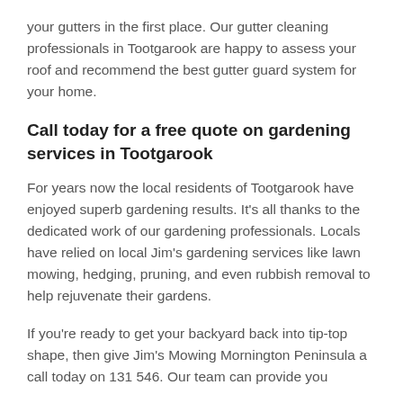your gutters in the first place. Our gutter cleaning professionals in Tootgarook are happy to assess your roof and recommend the best gutter guard system for your home.
Call today for a free quote on gardening services in Tootgarook
For years now the local residents of Tootgarook have enjoyed superb gardening results. It’s all thanks to the dedicated work of our gardening professionals. Locals have relied on local Jim’s gardening services like lawn mowing, hedging, pruning, and even rubbish removal to help rejuvenate their gardens.
If you’re ready to get your backyard back into tip-top shape, then give Jim’s Mowing Mornington Peninsula a call today on 131 546. Our team can provide you